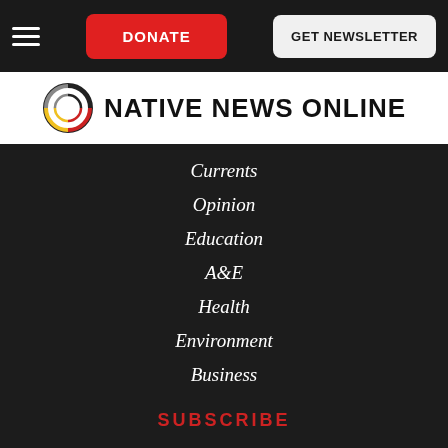DONATE | GET NEWSLETTER
NATIVE NEWS ONLINE
Currents
Opinion
Education
A&E
Health
Environment
Business
Sovereignty
Travel
SUBSCRIBE